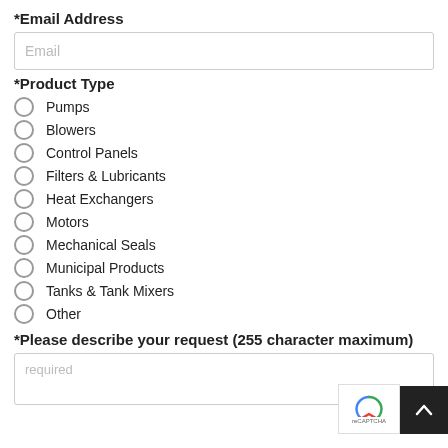*Email Address
Email
*Product Type
Pumps
Blowers
Control Panels
Filters & Lubricants
Heat Exchangers
Motors
Mechanical Seals
Municipal Products
Tanks & Tank Mixers
Other
*Please describe your request (255 character maximum)
required